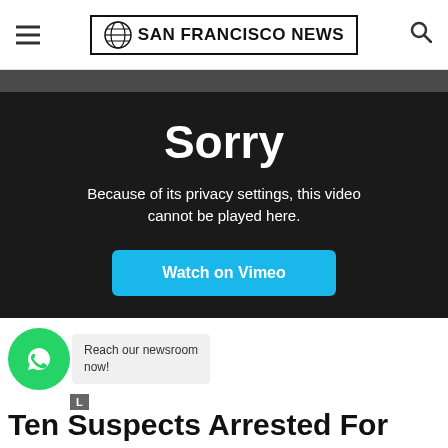SAN FRANCISCO NEWS
[Figure (screenshot): Video player error screen with dark background showing 'Sorry' message: 'Because of its privacy settings, this video cannot be played here.' and a blue 'Watch on Vimeo' button]
Reach our newsroom now!
Ten Suspects Arrested For